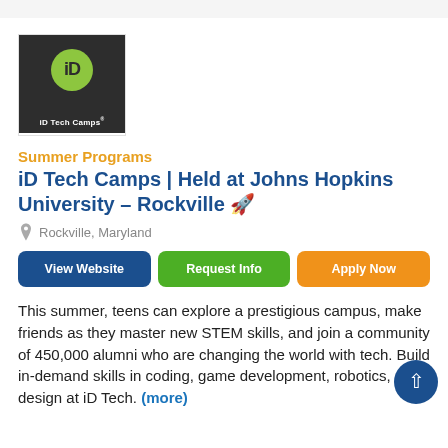[Figure (logo): iD Tech Camps logo: dark background with green circle containing 'iD' in white, with 'iD Tech Camps' text below in white]
Summer Programs
iD Tech Camps | Held at Johns Hopkins University – Rockville 🚀
Rockville, Maryland
View Website | Request Info | Apply Now
This summer, teens can explore a prestigious campus, make friends as they master new STEM skills, and join a community of 450,000 alumni who are changing the world with tech. Build in-demand skills in coding, game development, robotics, and design at iD Tech. (more)